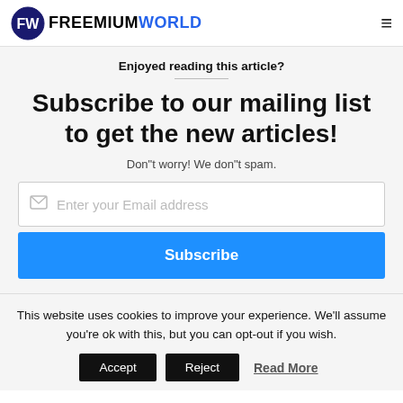FREEMIUMWORLD
Enjoyed reading this article?
Subscribe to our mailing list to get the new articles!
Don"t worry! We don"t spam.
Enter your Email address
Subscribe
This website uses cookies to improve your experience. We'll assume you're ok with this, but you can opt-out if you wish.
Accept | Reject | Read More